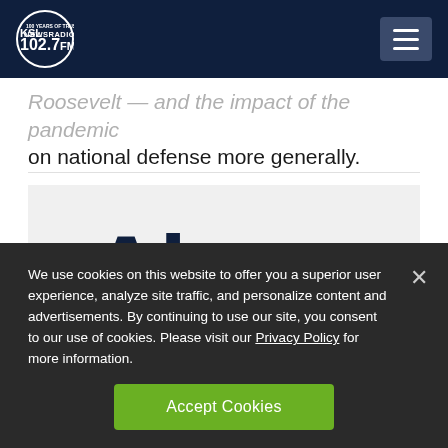KSL NewsRadio 102.7 FM — 100 Years of Trust
Roosevelt — and the impact of the pandemic on national defense more generally.
[Figure (logo): Alexa quote image with green quotation marks and dark navy text reading 'Alexa']
We use cookies on this website to offer you a superior user experience, analyze site traffic, and personalize content and advertisements. By continuing to use our site, you consent to our use of cookies. Please visit our Privacy Policy for more information.
Accept Cookies